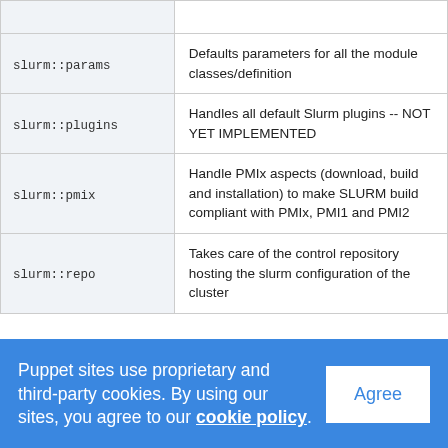| Class | Description |
| --- | --- |
| slurm::params | Defaults parameters for all the module classes/definition |
| slurm::plugins | Handles all default Slurm plugins -- NOT YET IMPLEMENTED |
| slurm::pmix | Handle PMIx aspects (download, build and installation) to make SLURM build compliant with PMIx, PMI1 and PMI2 |
| slurm::repo | Takes care of the control repository hosting the slurm configuration of the cluster |
Puppet sites use proprietary and third-party cookies. By using our sites, you agree to our cookie policy.